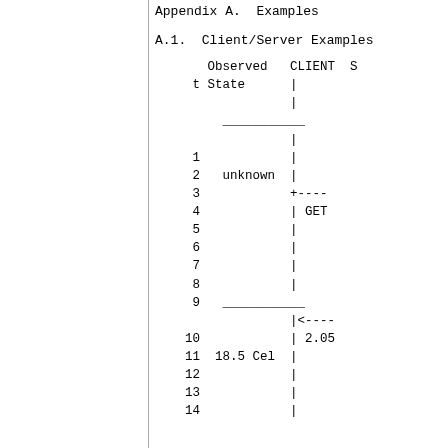Appendix A.  Examples
A.1.  Client/Server Examples
Observed   CLIENT  S
     t State      |
                   |
               ___________  |
     1                     |
     2   unknown           |
     3                     +----
     4                     | GET
     5                     |
     6                     |
     7                     |
     8                     |
     9   ___________       |<----
    10                     | 2.05
    11   18.5 Cel          |
    12                     |
    13                     |
    14                     |